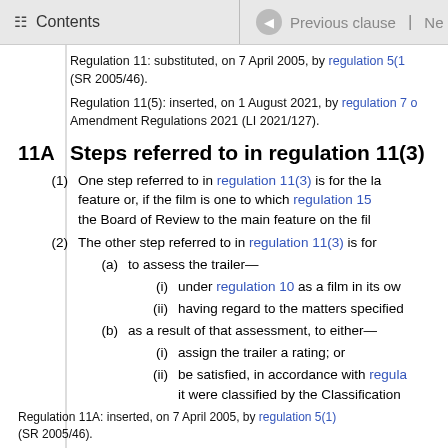Contents | Previous clause | Ne
Regulation 11: substituted, on 7 April 2005, by regulation 5(1) (SR 2005/46).
Regulation 11(5): inserted, on 1 August 2021, by regulation 7 of the Amendment Regulations 2021 (LI 2021/127).
11A Steps referred to in regulation 11(3)
(1) One step referred to in regulation 11(3) is for the la feature or, if the film is one to which regulation 15 the Board of Review to the main feature on the fil
(2) The other step referred to in regulation 11(3) is for
(a) to assess the trailer—
(i) under regulation 10 as a film in its ow
(ii) having regard to the matters specified
(b) as a result of that assessment, to either—
(i) assign the trailer a rating; or
(ii) be satisfied, in accordance with regula it were classified by the Classification
Regulation 11A: inserted, on 7 April 2005, by regulation 5(1) (SR 2005/46).